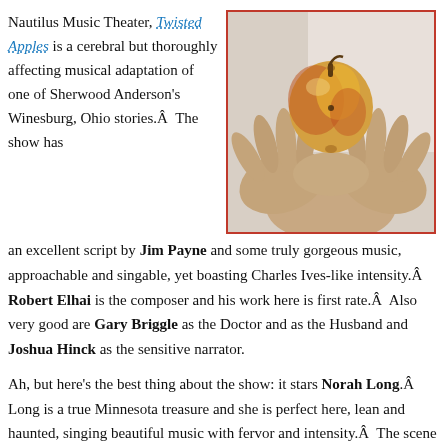Nautilus Music Theater, Twisted Apples is a cerebral but thoroughly affecting musical adaptation of one of Sherwood Anderson's Winesburg, Ohio stories.Â  The show has an excellent script by Jim Payne and some truly gorgeous music, approachable and singable, yet boasting Charles Ives-like intensity.Â  Robert Elhai is the composer and his work here is first rate.Â  Also very good are Gary Briggle as the Doctor and as the Husband and Joshua Hinck as the sensitive narrator.
[Figure (photo): Elderly hands cupping a small apple, with a red border frame around the image.]
Ah, but here's the best thing about the show: it stars Norah Long.Â  Long is a true Minnesota treasure and she is perfect here, lean and haunted, singing beautiful music with fervor and intensity.Â  The scene between Long and Briggle as the Doctor, their paean to lost love, is pitch perfect.